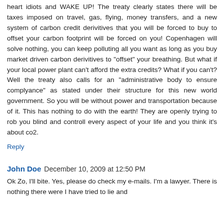heart idiots and WAKE UP! The treaty clearly states there will be taxes imposed on travel, gas, flying, money transfers, and a new system of carbon credit derivitives that you will be forced to buy to offset your carbon footprint will be forced on you! Copenhagen will solve nothing, you can keep polluting all you want as long as you buy market driven carbon derivitives to "offset" your breathing. But what if your local power plant can't afford the extra credits? What if you can't? Well the treaty also calls for an "administrative body to ensure complyance" as stated under their structure for this new world government. So you will be without power and transportation because of it. This has nothing to do with the earth! They are openly trying to rob you blind and controll every aspect of your life and you think it's about co2.
Reply
John Doe  December 10, 2009 at 12:50 PM
Ok Zo, I'll bite. Yes, please do check my e-mails. I'm a lawyer. There is nothing there were I have tried to lie and